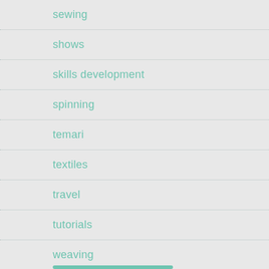sewing
shows
skills development
spinning
temari
textiles
travel
tutorials
weaving